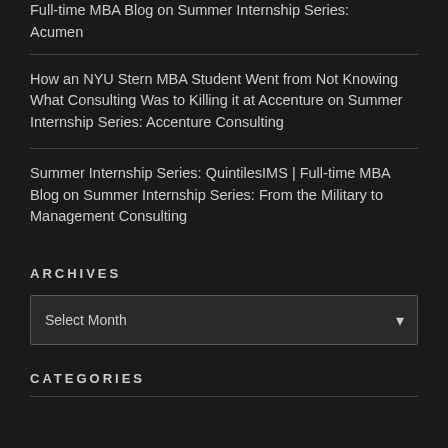Full-time MBA Blog on Summer Internship Series: Acumen
How an NYU Stern MBA Student Went from Not Knowing What Consulting Was to Killing it at Accenture on Summer Internship Series: Accenture Consulting
Summer Internship Series: QuintilesIMS | Full-time MBA Blog on Summer Internship Series: From the Military to Management Consulting
ARCHIVES
Select Month
CATEGORIES